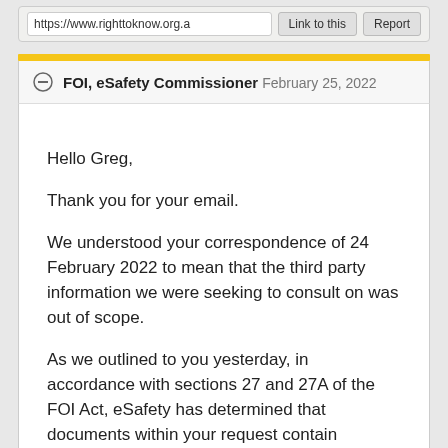https://www.righttoknow.org.a  Link to this  Report
FOI, eSafety Commissioner  February 25, 2022
Hello Greg,

Thank you for your email.

We understood your correspondence of 24 February 2022 to mean that the third party information we were seeking to consult on was out of scope.

As we outlined to you yesterday, in accordance with sections 27 and 27A of the FOI Act, eSafety has determined that documents within your request contain information that requires eSafety to provide third parties a reasonable opportunity to make submissions in relation to the application of those